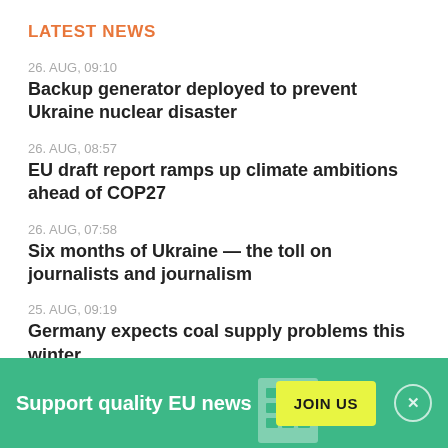LATEST NEWS
26. AUG, 09:10
Backup generator deployed to prevent Ukraine nuclear disaster
26. AUG, 08:57
EU draft report ramps up climate ambitions ahead of COP27
26. AUG, 07:58
Six months of Ukraine — the toll on journalists and journalism
25. AUG, 09:19
Germany expects coal supply problems this winter
25. AUG, 08:50
Support quality EU news  JOIN US